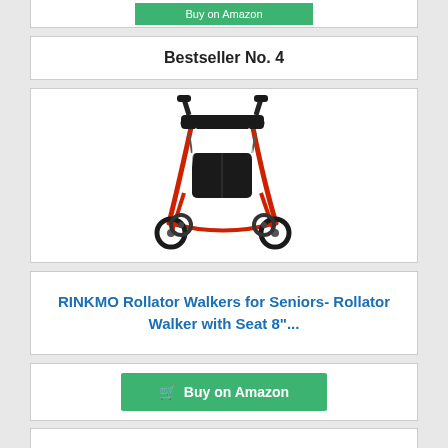[Figure (other): Green Buy on Amazon button from previous product card (partially visible at top)]
Bestseller No. 4
[Figure (photo): Red rollator walker with black seat, backrest, and storage bag, four wheels]
RINKMO Rollator Walkers for Seniors- Rollator Walker with Seat 8"...
[Figure (other): Green Buy on Amazon button with shopping cart icon]
[Figure (other): Top of next product card (partially visible at bottom)]